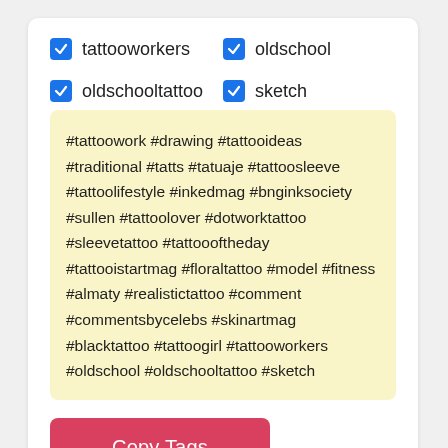tattooworkers
oldschool
oldschooltattoo
sketch
#tattoowork #drawing #tattooideas #traditional #tatts #tatuaje #tattoosleeve #tattoolifestyle #inkedmag #bnginksociety #sullen #tattoolover #dotworktattoo #sleevetattoo #tattoooftheday #tattooistartmag #floraltattoo #model #fitness #almaty #realistictattoo #comment #commentsbycelebs #skinartmag #blacktattoo #tattoogirl #tattooworkers #oldschool #oldschooltattoo #sketch
Copy Tags